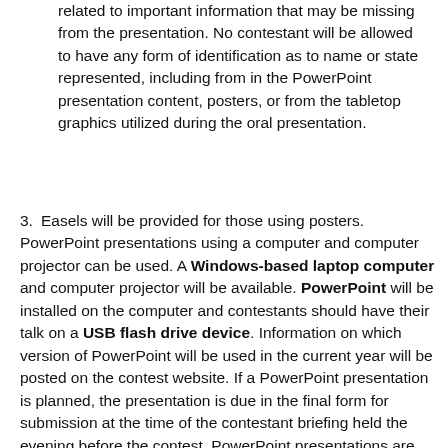related to important information that may be missing from the presentation. No contestant will be allowed to have any form of identification as to name or state represented, including from in the PowerPoint presentation content, posters, or from the tabletop graphics utilized during the oral presentation.
3. Easels will be provided for those using posters. PowerPoint presentations using a computer and computer projector can be used. A Windows-based laptop computer and computer projector will be available. PowerPoint will be installed on the computer and contestants should have their talk on a USB flash drive device. Information on which version of PowerPoint will be used in the current year will be posted on the contest website. If a PowerPoint presentation is planned, the presentation is due in the final form for submission at the time of the contestant briefing held the evening before the contest. PowerPoint presentations are cannot include audio. The order of presentation